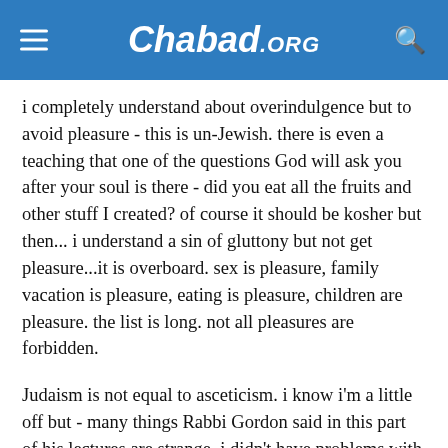Chabad.ORG
i completely understand about overindulgence but to avoid pleasure - this is un-Jewish. there is even a teaching that one of the questions God will ask you after your soul is there - did you eat all the fruits and other stuff I created? of course it should be kosher but then... i understand a sin of gluttony but not get pleasure...it is overboard. sex is pleasure, family vacation is pleasure, eating is pleasure, children are pleasure. the list is long. not all pleasures are forbidden.
Judaism is not equal to asceticism. i know i'm a little off but - many things Rabbi Gordon said in this part of his lectures are strange. i didn't have problems with previous parts.